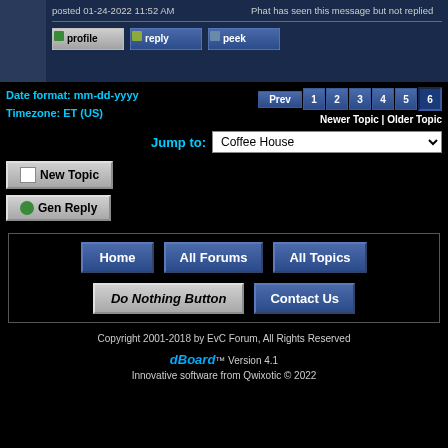posted 01-24-2022 11:52 AM
Phat has seen this message but not replied
[Figure (screenshot): Profile, reply, and peek buttons]
Date format: mm-dd-yyyy
Timezone: ET (US)
Prev 1 2 3 4 5 6
Newer Topic | Older Topic
Jump to:
Coffee House
New Topic
Gen Reply
Home   All Forums   All Topics   Do Nothing Button   Contact Us
Copyright 2001-2018 by EvC Forum, All Rights Reserved
dBoard™ Version 4.1
Innovative software from Qwixotic © 2022